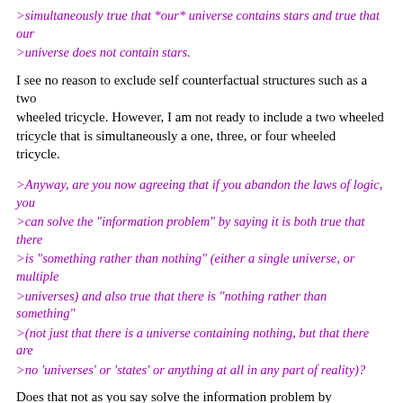>simultaneously true that *our* universe contains stars and true that our
>universe does not contain stars.
I see no reason to exclude self counterfactual structures such as a two wheeled tricycle. However, I am not ready to include a two wheeled tricycle that is simultaneously a one, three, or four wheeled tricycle.
>Anyway, are you now agreeing that if you abandon the laws of logic, you
>can solve the "information problem" by saying it is both true that there
>is "something rather than nothing" (either a single universe, or multiple
>universes) and also true that there is "nothing rather than something"
>(not just that there is a universe containing nothing, but that there are
>no 'universes' or 'states' or anything at all in any part of reality)?
Does that not as you say solve the information problem by